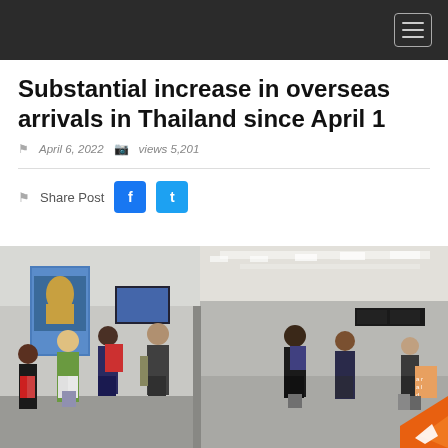Navigation bar with hamburger menu
Substantial increase in overseas arrivals in Thailand since April 1
April 6, 2022   views 5,201
Share Post
[Figure (photo): Travelers walking through an airport terminal with luggage, wearing masks, with a Thailand tourism billboard visible on the left.]